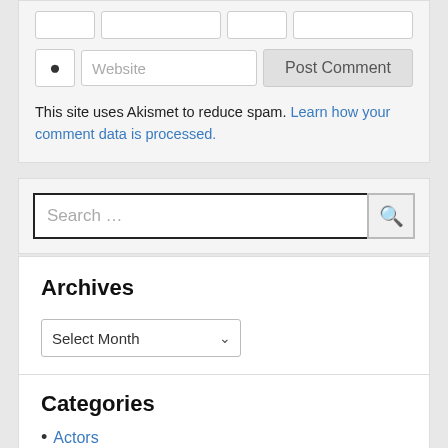[Figure (screenshot): Website comment form with globe icon, website input field, and Post Comment button, followed by Akismet spam notice text with link]
This site uses Akismet to reduce spam. Learn how your comment data is processed.
[Figure (screenshot): Search input field with search button]
Archives
[Figure (screenshot): Select Month dropdown]
Categories
Actors
Animators